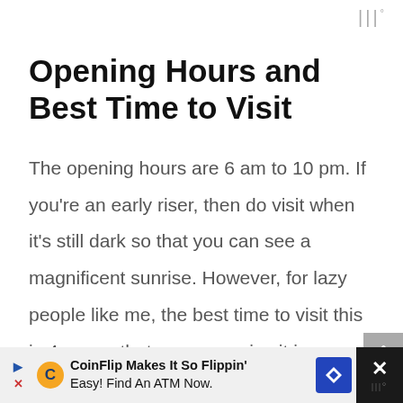Opening Hours and Best Time to Visit
The opening hours are 6 am to 10 pm. If you’re an early riser, then do visit when it’s still dark so that you can see a magnificent sunrise. However, for lazy people like me, the best time to visit this is 4 pm so that you can enjoy it in daylight, watch the sunset and see
CoinFlip Makes It So Flippin’ Easy! Find An ATM Now.